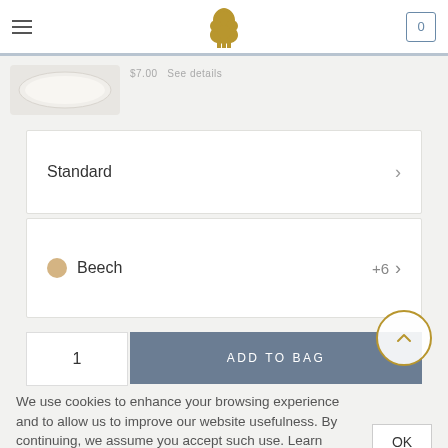Navigation header with hamburger menu, tree logo, and cart icon (0)
[Figure (photo): Partial product image — white ceramic dish/tray on light grey background]
$7.00  See details
Standard  >
Beech  +6  >
1
ADD TO BAG
We use cookies to enhance your browsing experience and to allow us to improve our website usefulness. By continuing, we assume you accept such use. Learn more about cookies and how to change your consent by visiting our privacy policy.
OK